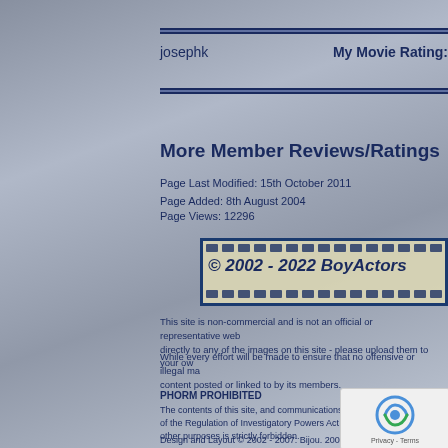josephk    My Movie Rating:
More Member Reviews/Ratings
Page Last Modified: 15th October 2011
Page Added: 8th August 2004

Page Views: 12296
[Figure (other): Film strip copyright banner: © 2002 - 2022 BoyActors]
This site is non-commercial and is not an official or representative web... directly to any of the images on this site - please upload them to your ow...
While every effort will be made to ensure that no offensive or illegal ma... content posted or linked to by its members.
PHORM PROHIBITED
The contents of this site, and communications between... of the Regulation of Investigatory Powers Act 2000. Th... other purposes is strictly forbidden.
Design and Layout © 2002 - 2007: Bijou. 2007 - 2022: Quantum